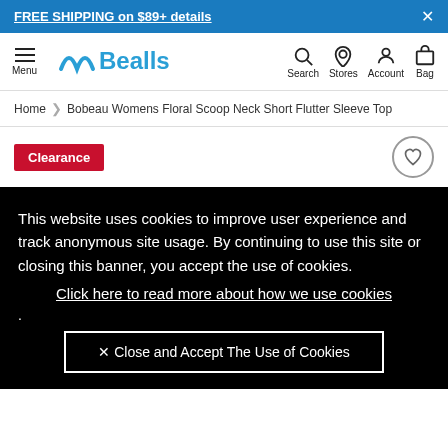FREE SHIPPING on $89+ details
[Figure (logo): Bealls logo with stylized 'n' icon in blue]
Home > Bobeau Womens Floral Scoop Neck Short Flutter Sleeve Top
Clearance
This website uses cookies to improve user experience and track anonymous site usage. By continuing to use this site or closing this banner, you accept the use of cookies.
Click here to read more about how we use cookies
.
✕ Close and Accept The Use of Cookies